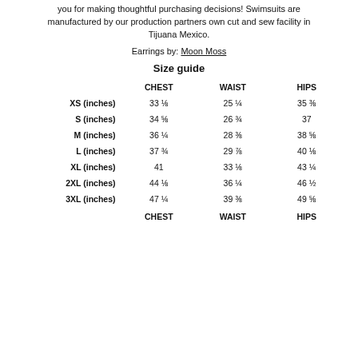you for making thoughtful purchasing decisions! Swimsuits are manufactured by our production partners own cut and sew facility in Tijuana Mexico.
Earrings by: Moon Moss
Size guide
|  | CHEST | WAIST | HIPS |
| --- | --- | --- | --- |
| XS (inches) | 33 ⅛ | 25 ¼ | 35 ⅜ |
| S (inches) | 34 ⅝ | 26 ¾ | 37 |
| M (inches) | 36 ¼ | 28 ⅜ | 38 ⅝ |
| L (inches) | 37 ¾ | 29 ⅞ | 40 ⅛ |
| XL (inches) | 41 | 33 ⅛ | 43 ¼ |
| 2XL (inches) | 44 ⅛ | 36 ¼ | 46 ½ |
| 3XL (inches) | 47 ¼ | 39 ⅜ | 49 ⅝ |
|  | CHEST | WAIST | HIPS |